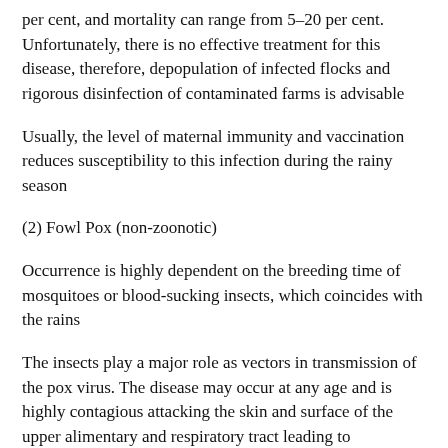per cent, and mortality can range from 5–20 per cent. Unfortunately, there is no effective treatment for this disease, therefore, depopulation of infected flocks and rigorous disinfection of contaminated farms is advisable
Usually, the level of maternal immunity and vaccination reduces susceptibility to this infection during the rainy season
(2) Fowl Pox (non-zoonotic)
Occurrence is highly dependent on the breeding time of mosquitoes or blood-sucking insects, which coincides with the rains
The insects play a major role as vectors in transmission of the pox virus. The disease may occur at any age and is highly contagious attacking the skin and surface of the upper alimentary and respiratory tract leading to